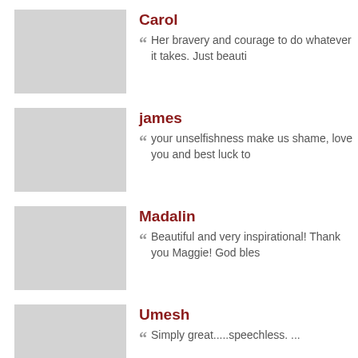Carol — Her bravery and courage to do whatever it takes. Just beauti...
james — your unselfishness make us shame, love you and best luck to...
Madalin — Beautiful and very inspirational! Thank you Maggie! God bles...
Umesh — Simply great.....speechless. ...
Dinesh — you inspired me of everything. You are Great.
sudarshan prasad — Its Remarkeble act